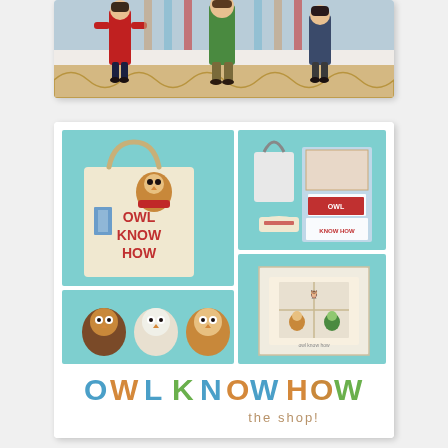[Figure (photo): Top portion: cropped photo showing miniature figurines or dolls in colorful outfits (red, green coats) standing on a snowy/cloudy scene with decorative scalloped border at the bottom, warm studio lighting.]
[Figure (photo): Bottom card: collage of product photos for 'Owl Know How the shop!' — top-left: tote bag with owl plush toy and books; top-right: gift sets and merchandise laid out; bottom-left: three small owl plush toys; bottom-right: book/board game product with owl characters. Below the photo grid is the 'OWL KNOW HOW the shop!' logo in colorful letters.]